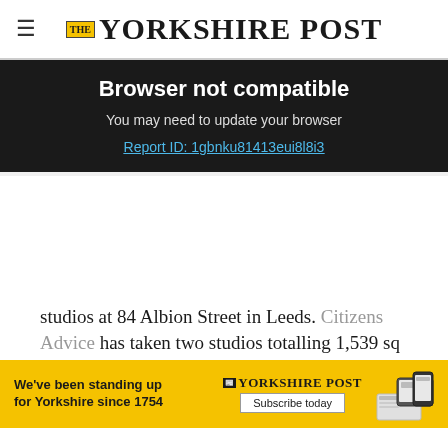THE YORKSHIRE POST
Browser not compatible
You may need to update your browser
Report ID: 1gbnku81413eui8l8i3
studios at 84 Albion Street in Leeds. Citizens Advice has taken two studios totalling 1,539 sq ft and Perigon Associates has let 301 sq ft. On de
[Figure (infographic): Yorkshire Post subscription advertisement banner with yellow background, logo, and Subscribe today button]